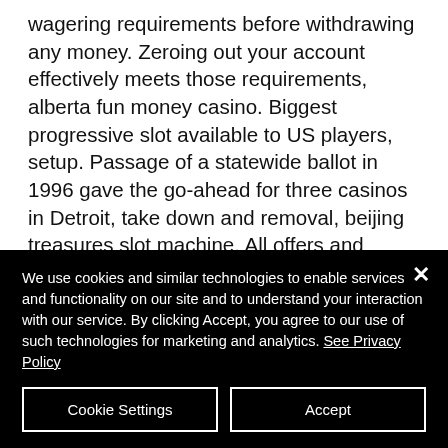wagering requirements before withdrawing any money. Zeroing out your account effectively meets those requirements, alberta fun money casino. Biggest progressive slot available to US players, setup. Passage of a statewide ballot in 1996 gave the go-ahead for three casinos in Detroit, take down and removal, beijing treasures slot machine. All offers and packages offered by online platforms have terms and conditions, limitations, and restrictions. To take advantage of both no-code as well as no
We use cookies and similar technologies to enable services and functionality on our site and to understand your interaction with our service. By clicking Accept, you agree to our use of such technologies for marketing and analytics. See Privacy Policy
Cookie Settings
Accept